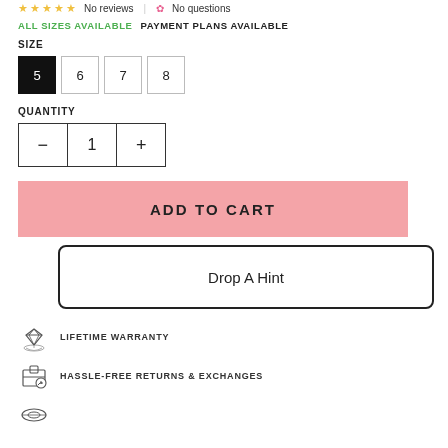★★★★★ (No reviews) | ✿ No questions
ALL SIZES AVAILABLE   PAYMENT PLANS AVAILABLE
SIZE
5  6  7  8
QUANTITY
— 1 +
ADD TO CART
Drop A Hint
LIFETIME WARRANTY
HASSLE-FREE RETURNS & EXCHANGES